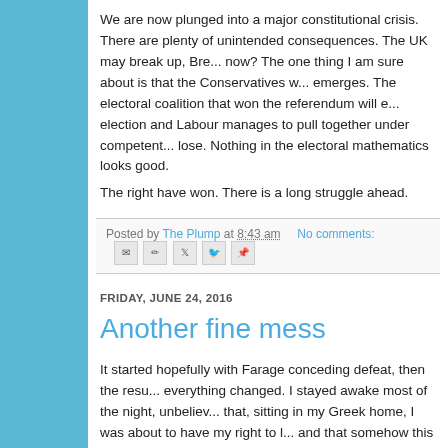We are now plunged into a major constitutional crisis. There are plenty of unintended consequences. The UK may break up, Bre... now? The one thing I am sure about is that the Conservatives w... emerges. The electoral coalition that won the referendum will e... election and Labour manages to pull together under competent... lose. Nothing in the electoral mathematics looks good.
The right have won. There is a long struggle ahead.
Posted by The Plump at 8:43 am    No comments:
FRIDAY, JUNE 24, 2016
Another fine mess
It started hopefully with Farage conceding defeat, then the resu... everything changed. I stayed awake most of the night, unbeliev... that, sitting in my Greek home, I was about to have my right to l... and that somehow this was to be described as 'taking Britain ba...
It's early days. We will have to wait and see what transpires. Th... adjusting, but the economy may stabilise depending on the soft...